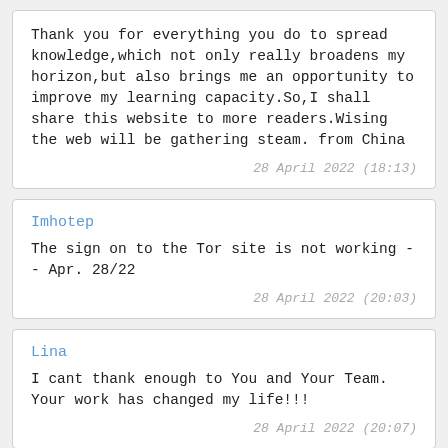Thank you for everything you do to spread knowledge,which not only really broadens my horizon,but also brings me an opportunity to improve my learning capacity.So,I shall share this website to more readers.Wising the web will be gathering steam. from China
28 April 2022 (18:13)
Imhotep
The sign on to the Tor site is not working -- Apr. 28/22
28 April 2022 (20:03)
Lina
I cant thank enough to You and Your Team. Your work has changed my life!!!
28 April 2022 (20:07)